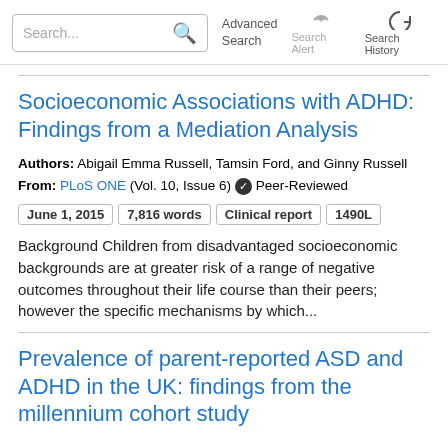Search... Advanced Search Search Alert Search History
Socioeconomic Associations with ADHD: Findings from a Mediation Analysis
Authors: Abigail Emma Russell, Tamsin Ford, and Ginny Russell
From: PLoS ONE (Vol. 10, Issue 6) ✔ Peer-Reviewed
June 1, 2015   7,816 words   Clinical report   1490L
Background Children from disadvantaged socioeconomic backgrounds are at greater risk of a range of negative outcomes throughout their life course than their peers; however the specific mechanisms by which...
Prevalence of parent-reported ASD and ADHD in the UK: findings from the millennium cohort study